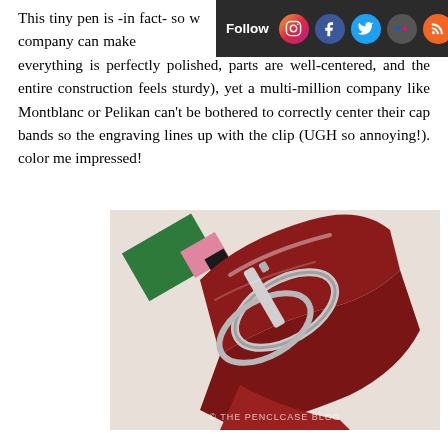This tiny pen is -in fact- so w... why this company can make ... is bar none, everything is perfectly polished, parts are well-centered, and the entire construction feels sturdy), yet a multi-million company like Montblanc or Pelikan can't be bothered to correctly center their cap bands so the engraving lines up with the clip (UGH so annoying!). color me impressed!
[Figure (photo): Close-up photograph of a pen cap area showing green, pink and dark banding, a silver clip mechanism, and a dark red barrel. Watermark reads THE PENCLCASE BLOG.]
If you think away those colorful stripes for a second, the design is actually quite straightforward, but they did incorporate some functional design elements in a rather interesting way. Again we see a Japanese eyedropper filling system, only slightly smaller of course. The piston knob at the back of the barrel is purposely